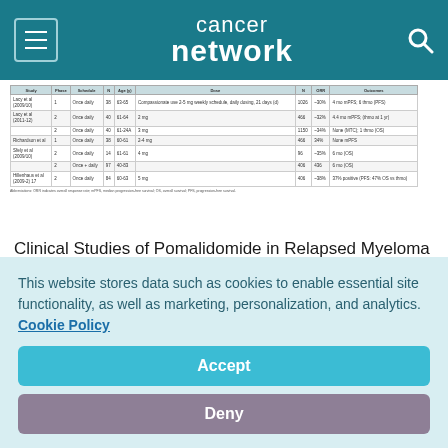cancer network
| Study | Phase | Schedule | N | Age(y) | Dose | N | ORR | Outcomes |
| --- | --- | --- | --- | --- | --- | --- | --- | --- |
| Lacy et al (2009/10) | 1 | Once daily | 38 | 63-65 | Compassionate use 2-5 mg
weekly schedule... | 1026 | ~30% | 4 mo mPFS; 6 thmo (PFS) |
| Lacy et al (2011-12) | 2 | Once daily | 40 | 61-64 | 2 mg | 466 | ~32% | 3.6 mo mPFS; 6 thmo (OS) |
|  | 2 | Once daily | 40 | 61-24A | 3 mg | 1150 | ~34% | 4.4 mo mPFS; (thmo at 1 yr) |
| Richardson et al | 1 | Once daily | 38 | 60-61 | 2-4 mg | 466 | 34% | None (MTC); 1 thmo (OS) |
| Sfely et al (2009/10) | 2 | Once daily | 14 | 61-61 | 4 mg | 96 | ~35% | None mPFS |
|  | 2 | Once + daily | 97 | 40-83 |  | 406 | 436 | 6 mo (OS) |
| Hillenhaus et al (2009-2) 17 | 2 | Once daily | 84 | 60-63 | 5 mg | 406 | ~38% | 37% positive (PFS: 47% OS vs thmo) |
Abbreviations: ORR indicates overall response rate; mPFS, median progression-free survival; OS, overall survival; PFS, progression-free survival.
Clinical Studies of Pomalidomide in Relapsed Myeloma
Myelosuppression is the major and dose-limiting toxicity noted in all clinical trials. Grade 3/4 neutropenia has been seen in 30% to
This website stores data such as cookies to enable essential site functionality, as well as marketing, personalization, and analytics. Cookie Policy
Accept
Deny